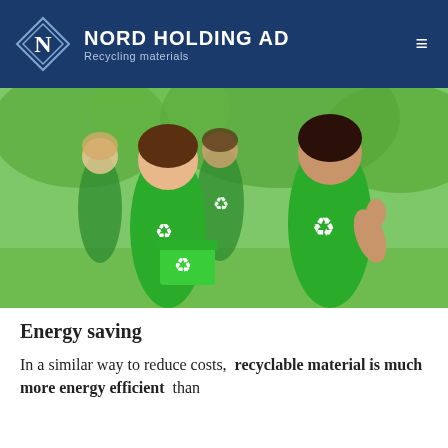NORD HOLDING AD — Recycling materials
[Figure (photo): Group of volunteers wearing green t-shirts with recycling logos, standing outdoors in a park. Two women in the foreground, one holding a green recycling bin. Others visible in the background.]
Energy saving
In a similar way to reduce costs,  recyclable material is much more energy efficient  than